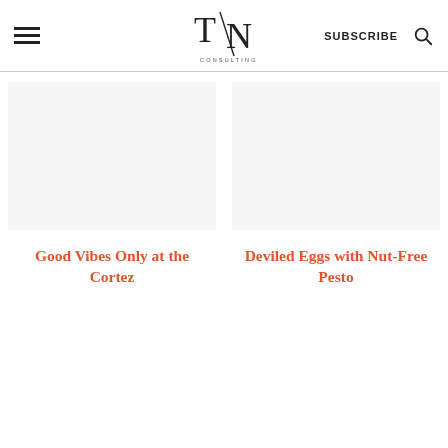TN CONSULTING — SUBSCRIBE
[Figure (illustration): Blank image placeholder for article: Good Vibes Only at the Cortez]
Good Vibes Only at the Cortez
[Figure (illustration): Blank image placeholder for article: Deviled Eggs with Nut-Free Pesto]
Deviled Eggs with Nut-Free Pesto